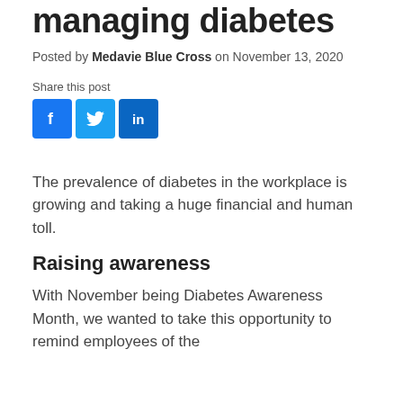managing diabetes
Posted by Medavie Blue Cross on November 13, 2020
Share this post
[Figure (other): Social media share icons: Facebook, Twitter, LinkedIn]
The prevalence of diabetes in the workplace is growing and taking a huge financial and human toll.
Raising awareness
With November being Diabetes Awareness Month, we wanted to take this opportunity to remind employees of the